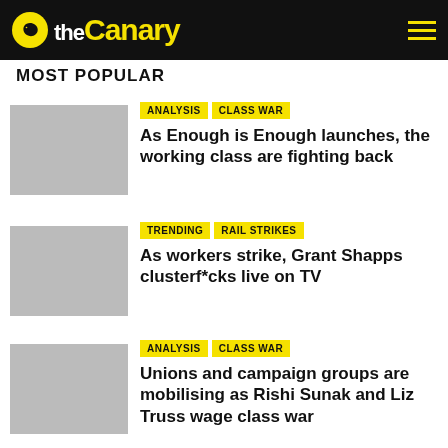the Canary
MOST POPULAR
ANALYSIS  CLASS WAR
As Enough is Enough launches, the working class are fighting back
TRENDING  RAIL STRIKES
As workers strike, Grant Shapps clusterf*cks live on TV
ANALYSIS  CLASS WAR
Unions and campaign groups are mobilising as Rishi Sunak and Liz Truss wage class war